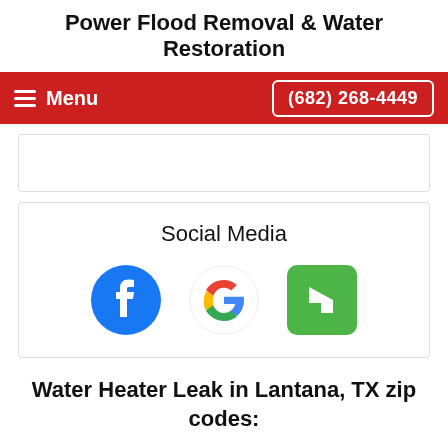Power Flood Removal & Water Restoration
[Figure (screenshot): Red navigation bar with hamburger menu icon and 'Menu' text on left, and phone number '(682) 268-4449' button on right]
[Figure (infographic): Social Media section with Facebook, Google, and Houzz icons]
Water Heater Leak in Lantana, TX zip codes: